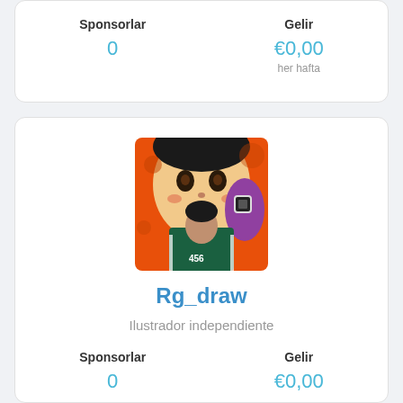Sponsorlar
Gelir
0
€0,00
her hafta
[Figure (photo): Profile image of Rg_draw showing an illustration style artwork with a large doll face on orange background and a person in a green Squid Game outfit]
Rg_draw
Ilustrador independiente
Sponsorlar
Gelir
0
€0,00